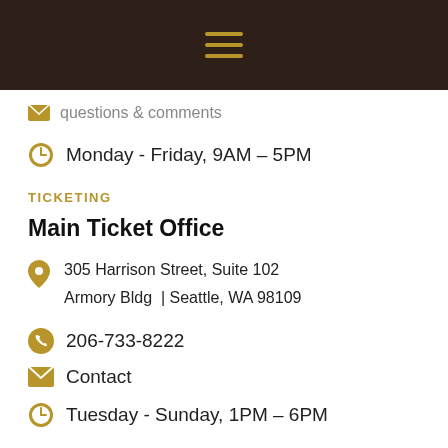Navigation menu header bar
Questions & Comments
Monday - Friday, 9AM – 5PM
TICKETING
Main Ticket Office
305 Harrison Street, Suite 102
Armory Bldg | Seattle, WA 98109
206-733-8222
Contact
Tuesday - Sunday, 1PM – 6PM